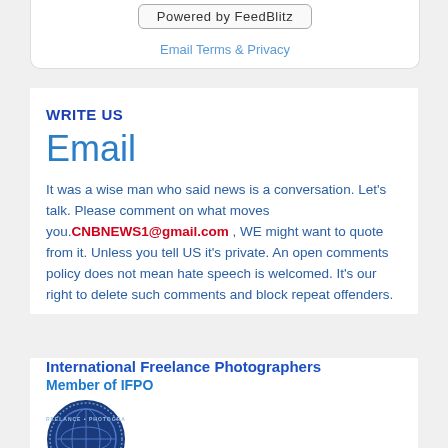Powered by FeedBlitz
Email Terms & Privacy
WRITE US
Email
It was a wise man who said news is a conversation. Let's talk. Please comment on what moves you.CNBNEWS1@gmail.com , WE might want to quote from it. Unless you tell US it's private. An open comments policy does not mean hate speech is welcomed. It's our right to delete such comments and block repeat offenders.
International Freelance Photographers
Member of IFPO
[Figure (logo): Circular badge/seal for freelance photographers organization with globe imagery]